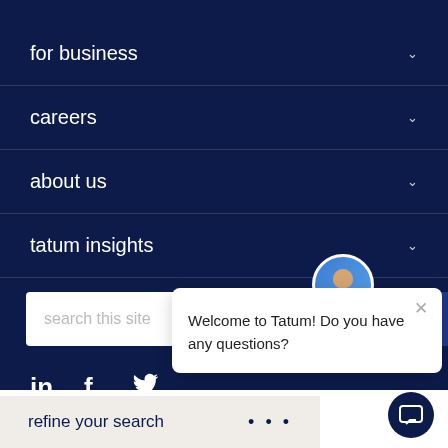for business
careers
about us
tatum insights
search this site
[Figure (screenshot): Social media icons: LinkedIn, Facebook, Twitter]
terms & conditions
Welcome to Tatum! Do you have any questions?
refine your search